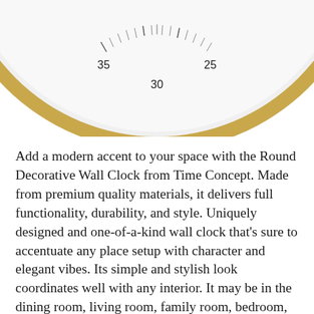[Figure (photo): Bottom portion of a round decorative wall clock with gold/brass rim and white face, showing numbers 25, 30, and 35 on the lower half of the clock face with minute tick marks]
Add a modern accent to your space with the Round Decorative Wall Clock from Time Concept. Made from premium quality materials, it delivers full functionality, durability, and style. Uniquely designed and one-of-a-kind wall clock that’s sure to accentuate any place setup with character and elegant vibes. Its simple and stylish look coordinates well with any interior. It may be in the dining room, living room, family room, bedroom, study room, kitchen, office, and meeting room. This uniquely designed wall clock features numbers that can be read as hours and minutes so adults and children can read it